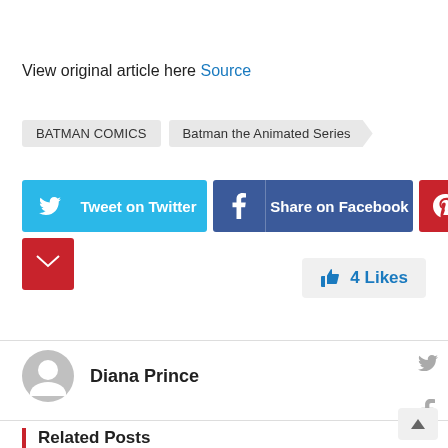View original article here Source
BATMAN COMICS
Batman the Animated Series
[Figure (other): Tweet on Twitter button (cyan), Share on Facebook button (dark blue), Pinterest button (red), Email button (red)]
4 Likes
Diana Prince
Related Posts